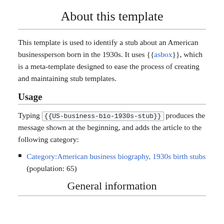About this template
This template is used to identify a stub about an American businessperson born in the 1930s. It uses {{asbox}}, which is a meta-template designed to ease the process of creating and maintaining stub templates.
Usage
Typing {{US-business-bio-1930s-stub}} produces the message shown at the beginning, and adds the article to the following category:
Category:American business biography, 1930s birth stubs (population: 65)
General information